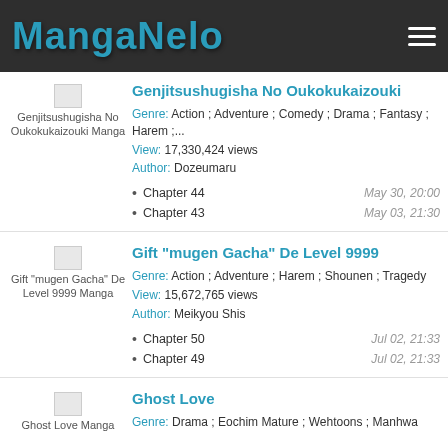MangaNelo
[Figure (screenshot): Manga thumbnail placeholder for Genjitsushugisha No Oukokukaizouki]
Genjitsushugisha No Oukokukaizouki
Genre: Action ; Adventure ; Comedy ; Drama ; Fantasy ; Harem ;...
View: 17,330,424 views
Author: Dozeumaru
Chapter 44 — May 30, 20:00
Chapter 43 — May 03, 21:30
[Figure (screenshot): Manga thumbnail placeholder for Gift mugen Gacha De Level 9999]
Gift "mugen Gacha" De Level 9999
Genre: Action ; Adventure ; Harem ; Shounen ; Tragedy
View: 15,672,765 views
Author: Meikyou Shis
Chapter 50 — Jul 02, 21:33
Chapter 49 — Jul 02, 21:33
[Figure (screenshot): Manga thumbnail placeholder for Ghost Love]
Ghost Love
Genre: Drama ; Eochim Mature ; Webtoons ; Manhwa